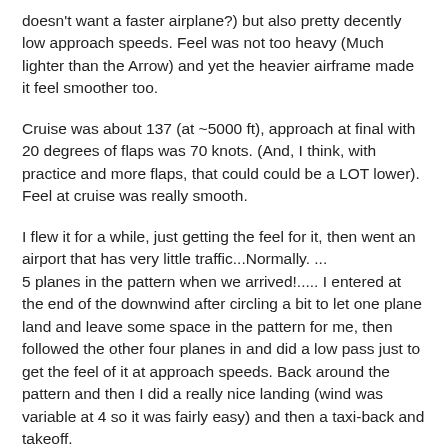doesn't want a faster airplane?) but also pretty decently low approach speeds. Feel was not too heavy (Much lighter than the Arrow) and yet the heavier airframe made it feel smoother too.
Cruise was about 137 (at ~5000 ft), approach at final with 20 degrees of flaps was 70 knots. (And, I think, with practice and more flaps, that could could be a LOT lower). Feel at cruise was really smooth.
I flew it for a while, just getting the feel for it, then went an airport that has very little traffic...Normally. ...
5 planes in the pattern when we arrived!..... I entered at the end of the downwind after circling a bit to let one plane land and leave some space in the pattern for me, then followed the other four planes in and did a low pass just to get the feel of it at approach speeds. Back around the pattern and then I did a really nice landing (wind was variable at 4 so it was fairly easy) and then a taxi-back and takeoff.
Stayed in the pattern and did a second landing just like the first. Was gonna do a crosswind landing, but there wasn't